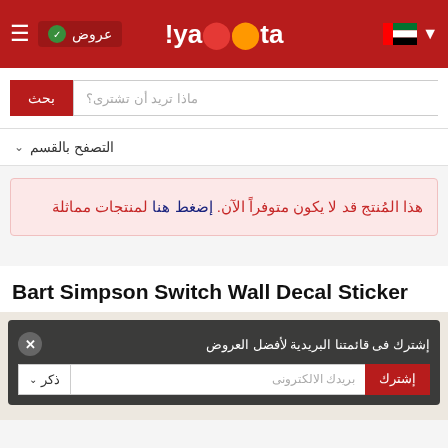yaoota! header with UAE flag, offers button, and hamburger menu
ماذا تريد أن تشترى؟
بحث
التصفح بالقسم
هذا المُنتج قد لا يكون متوفراً الآن. إضغط هنا لمنتجات مماثلة
Bart Simpson Switch Wall Decal Sticker
إشترك فى قائمتنا البريدية لأفضل العروض
ذكر  بريدك الالكترونى  إشترك